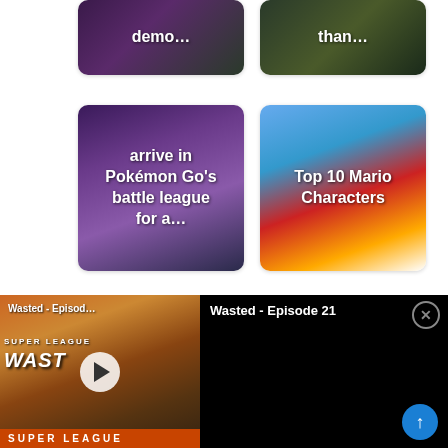[Figure (screenshot): Thumbnail card with dark purple/green background showing text 'demo...']
[Figure (screenshot): Thumbnail card with dark green background showing text 'than...']
[Figure (screenshot): Thumbnail card with purple background showing text 'arrive in Pokémon Go's battle league for a...']
[Figure (screenshot): Thumbnail card showing Mario character with text 'Top 10 Mario Characters']
[Figure (screenshot): Video thumbnail for 'Wasted - Episod...' showing Super League Wasted game with play button, car and SUPER LEAGUE banner]
Wasted - Episode 21